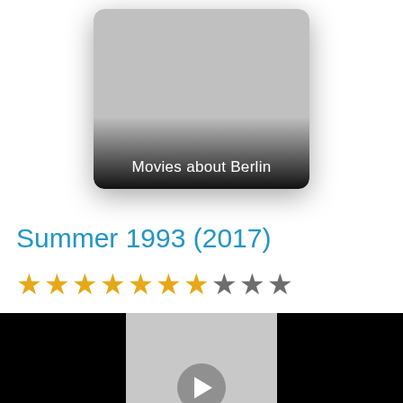[Figure (illustration): A playlist thumbnail card with light gray background, rounded corners, drop shadow, and gradient overlay at the bottom displaying the text 'Movies about Berlin' in white]
Summer 1993 (2017)
[Figure (other): Star rating showing 7 filled gold stars and 3 dark/empty stars out of 10]
[Figure (other): Video strip showing three panels: black panel on left, gray center panel with a circular play button, black panel on right]